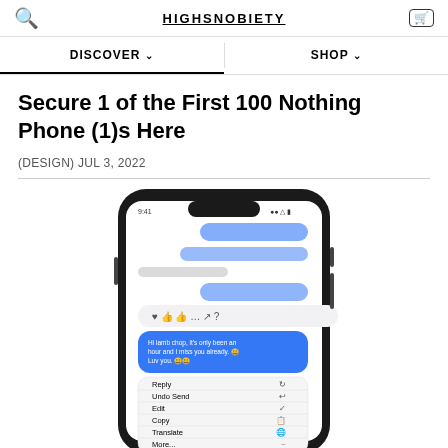HIGHSNOBIETY
DISCOVER  SHOP
Secure 1 of the First 100 Nothing Phone (1)s Here
(DESIGN) JUL 3, 2022
[Figure (photo): Smartphone displaying iMessage conversation with context menu showing Reply, Undo Send, Edit, Copy, Translate, More... options]